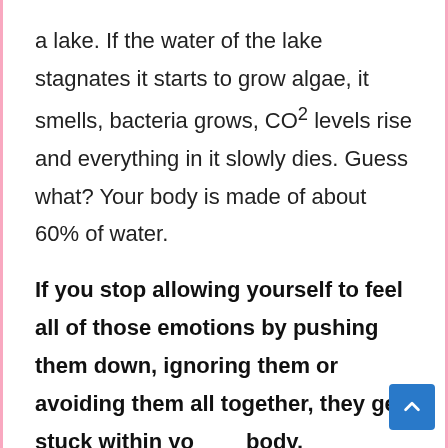a lake. If the water of the lake stagnates it starts to grow algae, it smells, bacteria grows, CO2 levels rise and everything in it slowly dies. Guess what? Your body is made of about 60% of water.
If you stop allowing yourself to feel all of those emotions by pushing them down, ignoring them or avoiding them all together, they get stuck within your body.